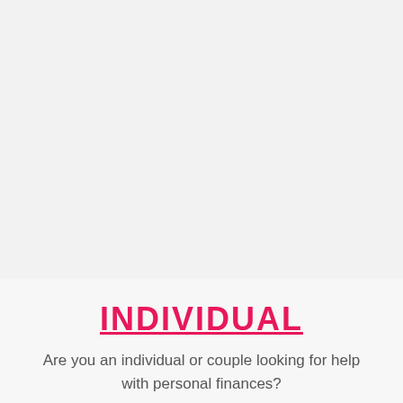[Figure (other): Large blank light grey rectangular area occupying the top portion of the page]
INDIVIDUAL
Are you an individual or couple looking for help with personal finances?